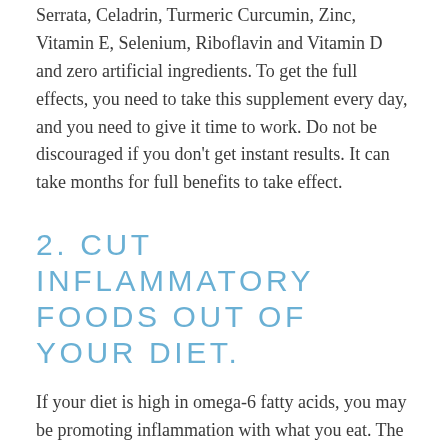Serrata, Celadrin, Turmeric Curcumin, Zinc, Vitamin E, Selenium, Riboflavin and Vitamin D and zero artificial ingredients. To get the full effects, you need to take this supplement every day, and you need to give it time to work. Do not be discouraged if you don't get instant results. It can take months for full benefits to take effect.
2. Cut Inflammatory Foods Out of Your Diet.
If your diet is high in omega-6 fatty acids, you may be promoting inflammation with what you eat. The Cleveland Clinic writes, "The American diet is generally higher in omega-6s due to high consumption of processed foods ... Sources include corn oil, safflower oil, sunflower oil, peanut oil, grapeseed oil and